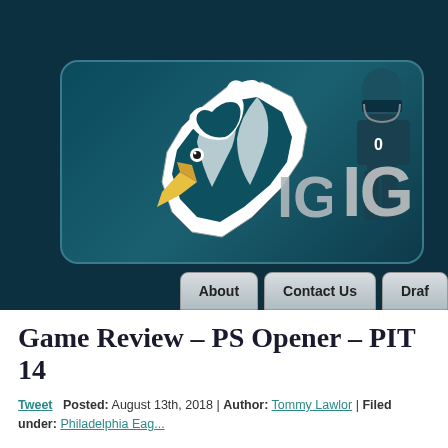[Figure (screenshot): Philadelphia Eagles / IGN blog website header banner with eagle logo, player silhouette, and navigation buttons for About, Contact Us, Draft]
Game Review – PS Opener – PIT 14
Tweet  Posted: August 13th, 2018 | Author: Tommy Lawlor | Filed under: Philadelphia Eag...
You know the drill. Ignore the score. Focus on players and not the overall team...